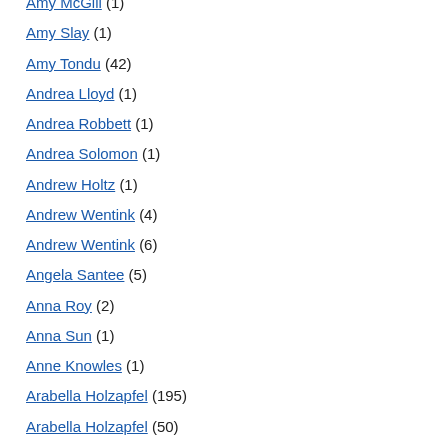Amy McGill (1)
Amy Slay (1)
Amy Tondu (42)
Andrea Lloyd (1)
Andrea Robbett (1)
Andrea Solomon (1)
Andrew Holtz (1)
Andrew Wentink (4)
Andrew Wentink (6)
Angela Santee (5)
Anna Roy (2)
Anna Sun (1)
Anne Knowles (1)
Arabella Holzapfel (195)
Arabella Holzapfel (50)
Ari Terkel (3)
Astrid Schanz-Garbassi (1)
Audrey Martino (3)